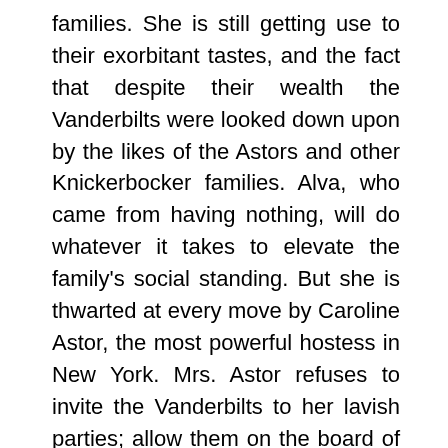families. She is still getting use to their exorbitant tastes, and the fact that despite their wealth the Vanderbilts were looked down upon by the likes of the Astors and other Knickerbocker families. Alva, who came from having nothing, will do whatever it takes to elevate the family's social standing. But she is thwarted at every move by Caroline Astor, the most powerful hostess in New York. Mrs. Astor refuses to invite the Vanderbilts to her lavish parties; allow them on the board of her Opera House; or even receive Alva at her home. Based on true event, Mrs. Vanderbilt battles to be recognized and accepted by Mrs. Astor for over three decades.